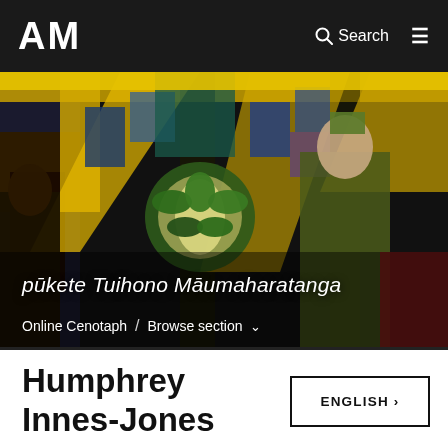AM | Search | ☰
[Figure (photo): Stained glass window depicting soldiers and figures with coloured panels in blues, greens, yellows, reds and blacks. An Auckland War Memorial Museum hero image.]
pūkete Tuihono Māumaharatanga
Online Cenotaph / Browse section ˅
Humphrey Innes-Jones
ENGLISH ›